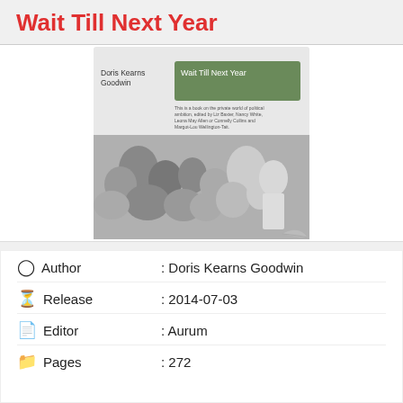Wait Till Next Year
[Figure (photo): Book cover of 'Wait Till Next Year' by Doris Kearns Goodwin, showing a black-and-white photo of a crowd of people surrounding a baseball player, with the title in a green rectangle and author name listed.]
| Author | : Doris Kearns Goodwin |
| Release | : 2014-07-03 |
| Editor | : Aurum |
| Pages | : 272 |